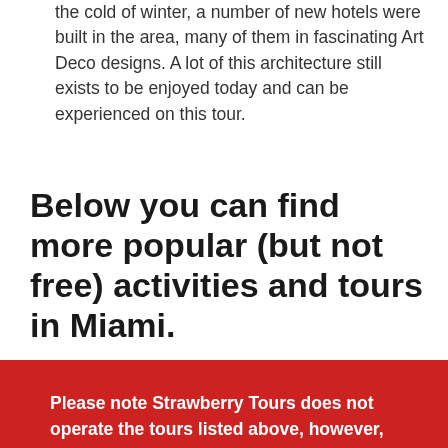the cold of winter, a number of new hotels were built in the area, many of them in fascinating Art Deco designs. A lot of this architecture still exists to be enjoyed today and can be experienced on this tour.
Below you can find more popular (but not free) activities and tours in Miami.
Please note Strawberry Tours does not operate the tours listed above, however, we are currently looking for people from all over the world who are excited to show their hometown to others.